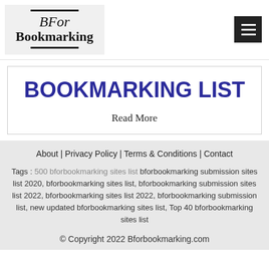[Figure (logo): BFor Bookmarking logo with horizontal lines above and below text on light gray background]
BOOKMARKING LIST
Read More
About | Privacy Policy | Terms & Conditions | Contact
Tags : 500 bforbookmarking sites list bforbookmarking submission sites list 2020, bforbookmarking sites list, bforbookmarking submission sites list 2022, bforbookmarking sites list 2022, bforbookmarking submission list, new updated bforbookmarking sites list, Top 40 bforbookmarking sites list
© Copyright 2022 Bforbookmarking.com